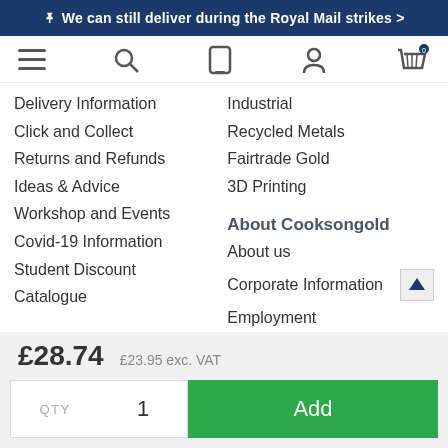🚀 We can still deliver during the Royal Mail strikes >
[Figure (screenshot): Navigation bar with hamburger menu, search icon, mobile icon, account icon, and basket icon with 0 badge]
Delivery Information
Click and Collect
Returns and Refunds
Ideas & Advice
Workshop and Events
Covid-19 Information
Student Discount
Catalogue
Industrial
Recycled Metals
Fairtrade Gold
3D Printing
About Cooksongold
About us
Corporate Information
Employment
£28.74   £23.95 exc. VAT
QTY  1  Add